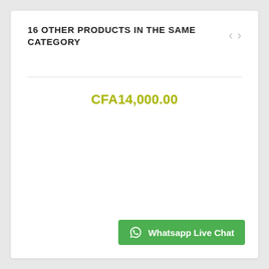16 OTHER PRODUCTS IN THE SAME CATEGORY
CFA14,000.00
Whatsapp Live Chat